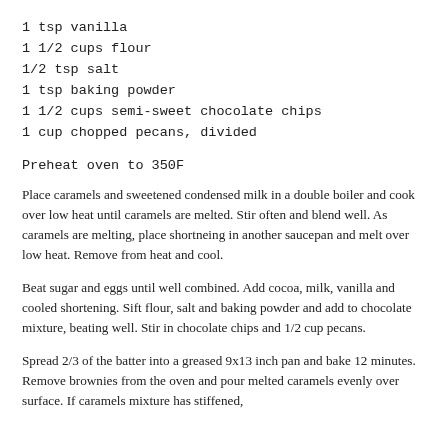1 tsp vanilla
1 1/2 cups flour
1/2 tsp salt
1 tsp baking powder
1 1/2 cups semi-sweet chocolate chips
1 cup chopped pecans, divided
Preheat oven to 350F
Place caramels and sweetened condensed milk in a double boiler and cook over low heat until caramels are melted. Stir often and blend well. As caramels are melting, place shortneing in another saucepan and melt over low heat. Remove from heat and cool.
Beat sugar and eggs until well combined. Add cocoa, milk, vanilla and cooled shortening. Sift flour, salt and baking powder and add to chocolate mixture, beating well. Stir in chocolate chips and 1/2 cup pecans.
Spread 2/3 of the batter into a greased 9x13 inch pan and bake 12 minutes. Remove brownies from the oven and pour melted caramels evenly over surface. If caramels mixture has stiffened,